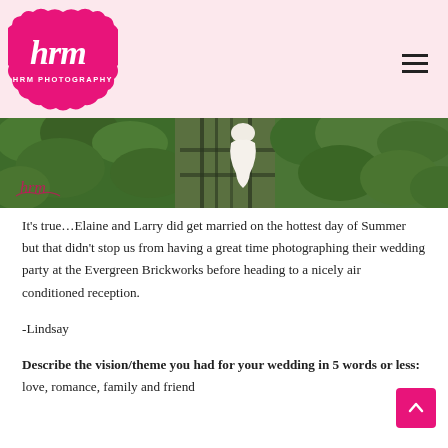[Figure (logo): HRM Photography logo — pink badge shape with white script 'hrm' and text 'HRM PHOTOGRAPHY' below]
[Figure (photo): Wedding photo at Evergreen Brickworks — bride in white dress on green ivy-covered metal structure/stairs, lush green foliage in background, HRM watermark signature in bottom-left corner]
It's true…Elaine and Larry did get married on the hottest day of Summer but that didn't stop us from having a great time photographing their wedding party at the Evergreen Brickworks before heading to a nicely air conditioned reception.
-Lindsay
Describe the vision/theme you had for your wedding in 5 words or less: love, romance, family and friend